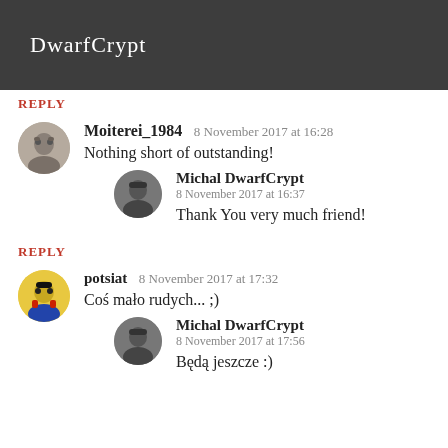DwarfCrypt
REPLY
Moiterei_1984  8 November 2017 at 16:28
Nothing short of outstanding!
Michal DwarfCrypt  8 November 2017 at 16:37
Thank You very much friend!
REPLY
potsiat  8 November 2017 at 17:32
Coś mało rudych... ;)
Michal DwarfCrypt  8 November 2017 at 17:56
Będą jeszcze :)